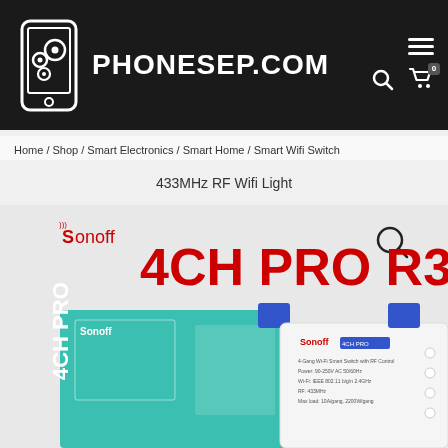[Figure (logo): PHONESEP.COM website header with phone/gears logo on dark background, hamburger menu, search icon, and cart icon]
Home / Shop / Smart Electronics / Smart Home / Smart Wifi Switch
433MHz RF Wifi Light
[Figure (photo): Sonoff 4CH PRO R3 product image showing the device box and the circuit board module]